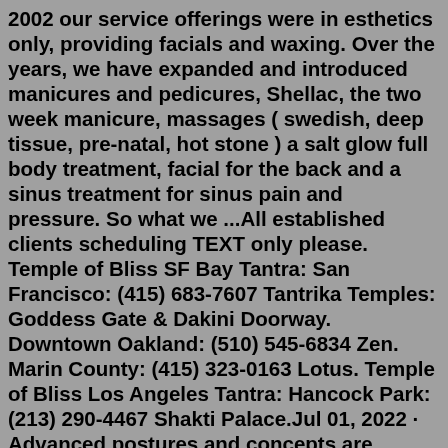2002 our service offerings were in esthetics only, providing facials and waxing. Over the years, we have expanded and introduced manicures and pedicures, Shellac, the two week manicure, massages ( swedish, deep tissue, pre-natal, hot stone ) a salt glow full body treatment, facial for the back and a sinus treatment for sinus pain and pressure. So what we ...All established clients scheduling TEXT only please. Temple of Bliss SF Bay Tantra: San Francisco: (415) 683-7607 Tantrika Temples: Goddess Gate & Dakini Doorway. Downtown Oakland: (510) 545-6834 Zen. Marin County: (415) 323-0163 Lotus. Temple of Bliss Los Angeles Tantra: Hancock Park: (213) 290-4467 Shakti Palace.Jul 01, 2022 · Advanced postures and concepts are introduced, but the opportunities in these classes are to let go and align your mental focus with your intention through your practice. Fire classes are about the cultivation of power and the release of the ego. Previous experience at TANTRA or with a Mysore practice suggested. How to find tantra classes near me San Diegp ...